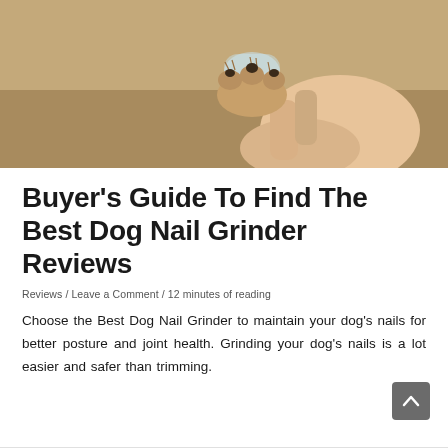[Figure (photo): Close-up photo of a dog's paw being filed/ground with a nail grinder tool held by a human hand, warm brown background tones]
Buyer’s Guide To Find The Best Dog Nail Grinder Reviews
Reviews / Leave a Comment / 12 minutes of reading
Choose the Best Dog Nail Grinder to maintain your dog’s nails for better posture and joint health. Grinding your dog’s nails is a lot easier and safer than trimming.